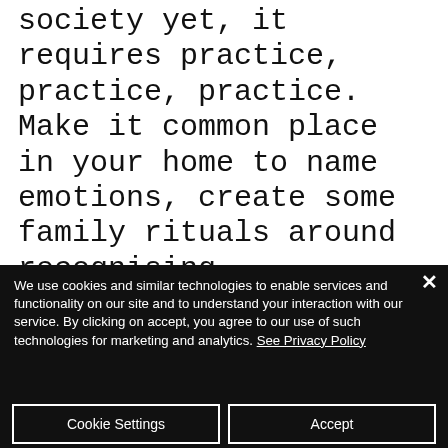society yet, it requires practice, practice, practice. Make it common place in your home to name emotions, create some family rituals around recognising, expressing & regulating them. And remember this process of practicing will include failure. Growth requires us to get it wrong, make mistakes & trip up from time to time.
We use cookies and similar technologies to enable services and functionality on our site and to understand your interaction with our service. By clicking on accept, you agree to our use of such technologies for marketing and analytics. See Privacy Policy